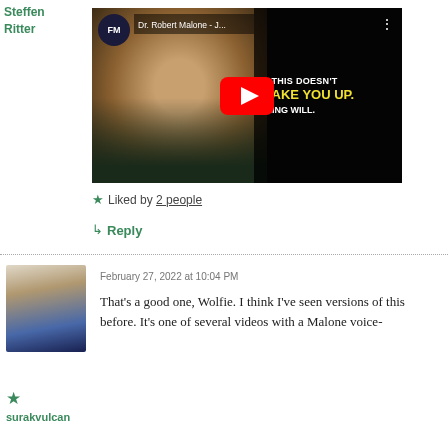Steffen Ritter
[Figure (screenshot): YouTube video thumbnail showing Dr. Robert Malone with FM channel badge, text overlay 'IF THIS DOESN'T WAKE YOU UP, NOTHING WILL' with YouTube play button]
★ Liked by 2 people
↳ Reply
February 27, 2022 at 10:04 PM
[Figure (photo): Avatar photo of a person in white suit against blue background]
That's a good one, Wolfie. I think I've seen versions of this before. It's one of several videos with a Malone voice-
surakvulcan